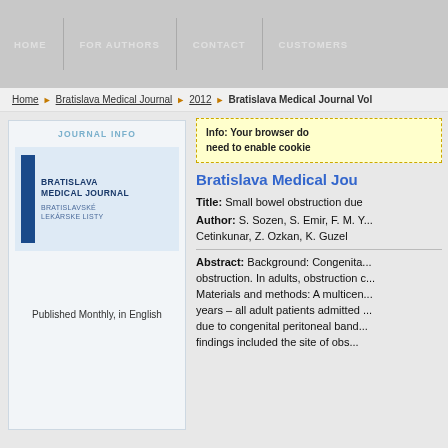HOME | FOR AUTHORS | CONTACT | CUSTOMERS
Home > Bratislava Medical Journal > 2012 > Bratislava Medical Journal Vol...
JOURNAL INFO
[Figure (logo): Bratislava Medical Journal / Bratislavske Lekarske Listy logo with blue vertical bar]
Published Monthly, in English
Info: Your browser do... need to enable cookie...
Bratislava Medical Jou...
Title: Small bowel obstruction due...
Author: S. Sozen, S. Emir, F. M. Y... Cetinkunar, Z. Ozkan, K. Guzel
Abstract: Background: Congenita... obstruction. In adults, obstruction c... Materials and methods: A multicen... years – all adult patients admitted ... due to congenital peritoneal band... findings included the site of obs...